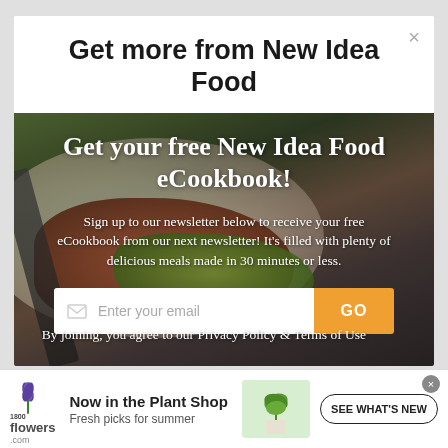Get more from New Idea Food
[Figure (photo): Dark food photograph showing a plated dish with meat/fish, red sauce, and green herbs/garnish on a white plate, used as background for the modal overlay]
Get your free New Idea Food eCookbook!
Sign up to our newsletter below to receive your free eCookbook from our next newsletter! It's filled with plenty of delicious meals made in 30 minutes or less.
Enter your email
By joining, you agree to our Privacy Policy & Terms of Use
[Figure (logo): 1-800-Flowers.com logo with green tulip icon on the left]
Now in the Plant Shop
Fresh picks for summer
[Figure (photo): Photo of a small green potted plant in a white pot]
SEE WHAT'S NEW